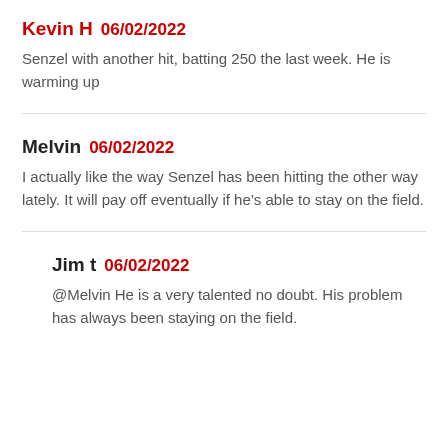Kevin H 06/02/2022
Senzel with another hit, batting 250 the last week. He is warming up
Melvin 06/02/2022
I actually like the way Senzel has been hitting the other way lately. It will pay off eventually if he’s able to stay on the field.
Jim t 06/02/2022
@Melvin He is a very talented no doubt. His problem has always been staying on the field.